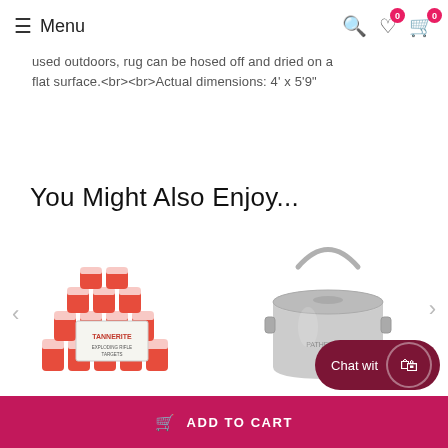Menu
attachment if needed. Blot spills immediately. Spot clean stains with mild detergent and white cloth. If used outdoors, rug can be hosed off and dried on a flat surface.<br><br>Actual dimensions: 4' x 5'9"
You Might Also Enjoy...
[Figure (photo): Tannerite Propack 20 product image showing stacked orange and white canisters]
[Figure (photo): Pathfinder stainless steel pot with bail handle and lid]
Tannerite Propack 20 20-1/2lb Trgts
Path...
Chat wit
ADD TO CART